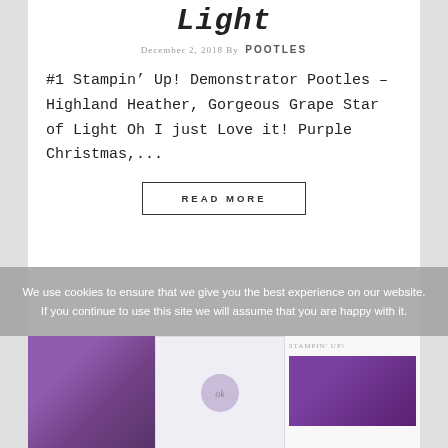Light
December 2, 2018 By POOTLES
#1 Stampin’ Up! Demonstrator Pootles – Highland Heather, Gorgeous Grape Star of Light Oh I just Love it! Purple Christmas,...
READ MORE
We use cookies to ensure that we give you the best experience on our website. If you continue to use this site we will assume that you are happy with it.
[Figure (photo): Three partial images at the bottom: left shows purple diagonal stripe, center shows a light background with a small stamp/circle motif, right shows text and Stampin’ Up! branding]